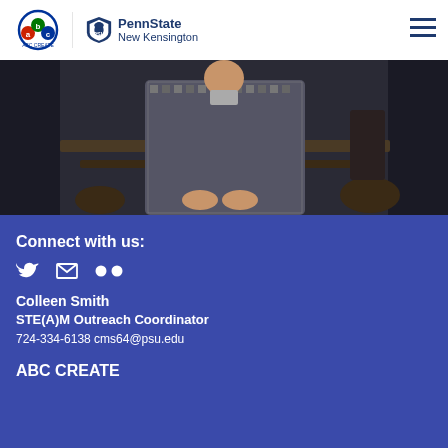ABC Create | PennState New Kensington
[Figure (photo): A person in a houndstooth blazer standing in front of a blurred restaurant/classroom setting, gesturing with their hands.]
Connect with us:
[Figure (other): Social media icons: Twitter bird, envelope/email, Flickr dots]
Colleen Smith
STE(A)M Outreach Coordinator
724-334-6138 cms64@psu.edu
ABC CREATE